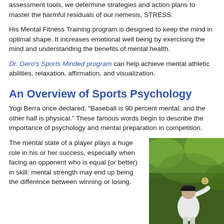assessment tools, we determine strategies and action plans to master the harmful residuals of our nemesis, STRESS.
His Mental Fitness Training program is designed to keep the mind in optimal shape. It increases emotional well being by exercising the mind and understanding the benefits of mental health.
Dr. Gero's Sports Minded program can help achieve mental athletic abilities, relaxation, affirmation, and visualization.
An Overview of Sports Psychology
Yogi Berra once declared, “Baseball is 90 percent mental, and the other half is physical.” These famous words begin to describe the importance of psychology and mental preparation in competition.
The mental state of a player plays a huge role in his or her success, especially when facing an opponent who is equal (or better) in skill: mental strength may end up being the difference between winning or losing.
[Figure (photo): A baseball pitcher mid-throw, wearing a white uniform and dark cap, with a ball visible in the air above, set against a green outdoor background.]